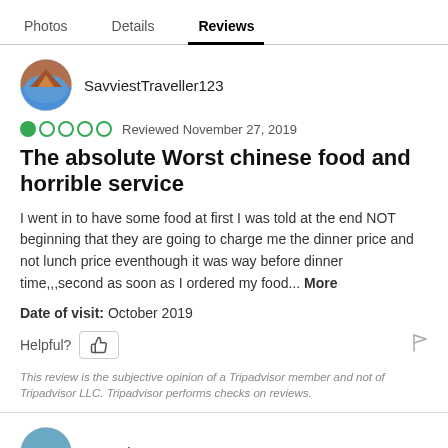Photos   Details   Reviews
SavviestTraveller123
Reviewed November 27, 2019
The absolute Worst chinese food and horrible service
I went in to have some food at first I was told at the end NOT beginning that they are going to charge me the dinner price and not lunch price eventhough it was way before dinner time,,,second as soon as I ordered my food... More
Date of visit: October 2019
Helpful?
This review is the subjective opinion of a Tripadvisor member and not of Tripadvisor LLC. Tripadvisor performs checks on reviews.
406BobB